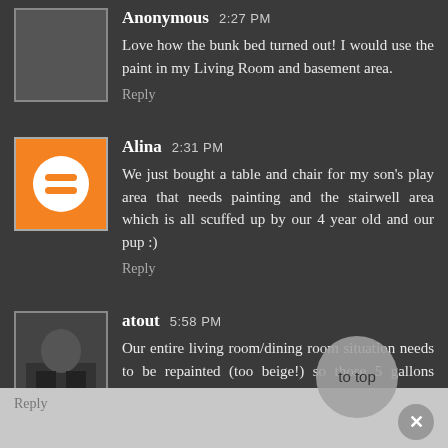Anonymous 2:27 PM
Love how the bunk bed turned out! I would use the paint in my Living Room and basement area.
Reply
Alina 2:31 PM
We just bought a table and chair for my son's play area that needs painting and the stairwell area which is all scuffed up by our 4 year old and our pup :)
Reply
atout 5:58 PM
Our entire living room/dining room situation needs to be repainted (too beige!) so those 5 gallons would go a long way!
Reply